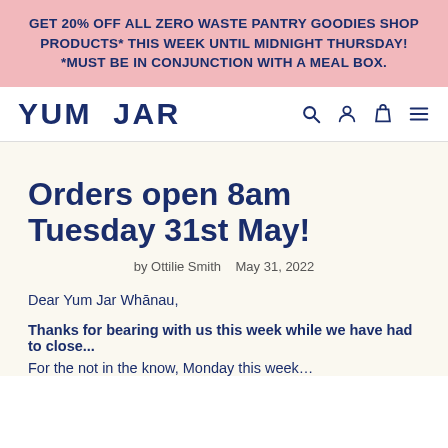GET 20% OFF ALL ZERO WASTE PANTRY GOODIES SHOP PRODUCTS* THIS WEEK UNTIL MIDNIGHT THURSDAY! *MUST BE IN CONJUNCTION WITH A MEAL BOX.
[Figure (logo): YUM JAR logo with search, account, cart, and menu icons]
Orders open 8am Tuesday 31st May!
by Ottilie Smith   May 31, 2022
Dear Yum Jar Whānau,
Thanks for bearing with us this week while we have had to close...
For those not in the know, Monday this week...